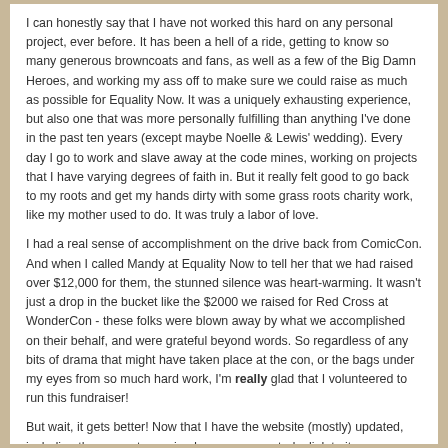I can honestly say that I have not worked this hard on any personal project, ever before. It has been a hell of a ride, getting to know so many generous browncoats and fans, as well as a few of the Big Damn Heroes, and working my ass off to make sure we could raise as much as possible for Equality Now. It was a uniquely exhausting experience, but also one that was more personally fulfilling than anything I've done in the past ten years (except maybe Noelle & Lewis' wedding). Every day I go to work and slave away at the code mines, working on projects that I have varying degrees of faith in. But it really felt good to go back to my roots and get my hands dirty with some grass roots charity work, like my mother used to do. It was truly a labor of love.
I had a real sense of accomplishment on the drive back from ComicCon. And when I called Mandy at Equality Now to tell her that we had raised over $12,000 for them, the stunned silence was heart-warming. It wasn't just a drop in the bucket like the $2000 we raised for Red Cross at WonderCon - these folks were blown away by what we accomplished on their behalf, and were grateful beyond words. So regardless of any bits of drama that might have taken place at the con, or the bags under my eyes from so much hard work, I'm really glad that I volunteered to run this fundraiser!
But wait, it gets better! Now that I have the website (mostly) updated, including the amount we raised, someone posted a link to it on Whedonesque (a community blog for all-things-Joss). And who should respond but the Big Damn Hero himself!
Joss Whedon's comment on our Equality Now fundraiser!
There's no way I'm not weighing in on this one.